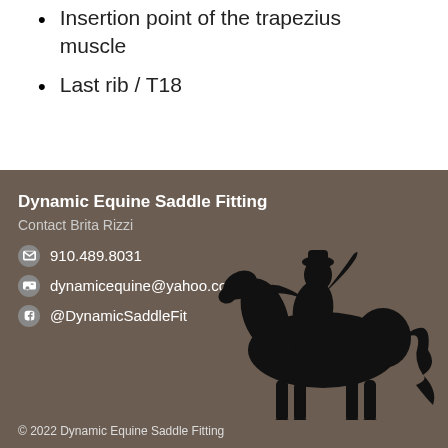Insertion point of the trapezius muscle
Last rib / T18
Dynamic Equine Saddle Fitting
Contact Brita Rizzi
✉ 910.489.8031
☎ dynamicequine@yahoo.com
f @DynamicSaddleFit
[Figure (illustration): Black silhouette of a horse and rider]
© 2022 Dynamic Equine Saddle Fitting